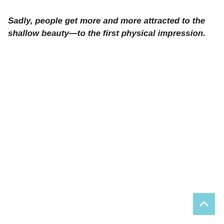Sadly, people get more and more attracted to the shallow beauty—to the first physical impression.